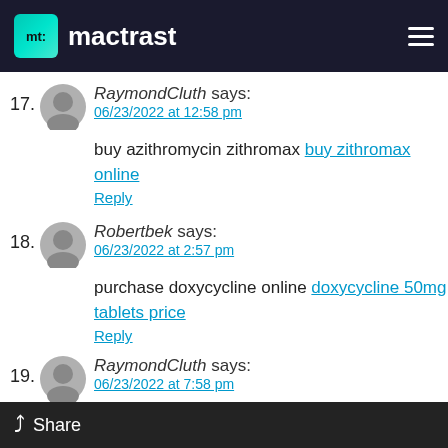mactrast
17. RaymondCluth says: 06/23/2022 at 12:58 pm — buy azithromycin zithromax buy zithromax online — Reply
18. Robertbek says: 06/23/2022 at 2:57 pm — purchase doxycycline online doxycycline 50mg tablets price — Reply
19. RaymondCluth says: 06/23/2022 at 7:58 pm — https://buytadalafil.men/# tadalafil 5mg best price
Share